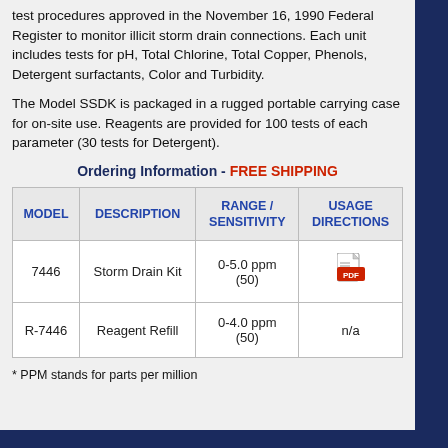test procedures approved in the November 16, 1990 Federal Register to monitor illicit storm drain connections. Each unit includes tests for pH, Total Chlorine, Total Copper, Phenols, Detergent surfactants, Color and Turbidity.
The Model SSDK is packaged in a rugged portable carrying case for on-site use. Reagents are provided for 100 tests of each parameter (30 tests for Detergent).
Ordering Information - FREE SHIPPING
| MODEL | DESCRIPTION | RANGE / SENSITIVITY | USAGE DIRECTIONS |
| --- | --- | --- | --- |
| 7446 | Storm Drain Kit | 0-5.0 ppm (50) | [PDF icon] |
| R-7446 | Reagent Refill | 0-4.0 ppm (50) | n/a |
* PPM stands for parts per million